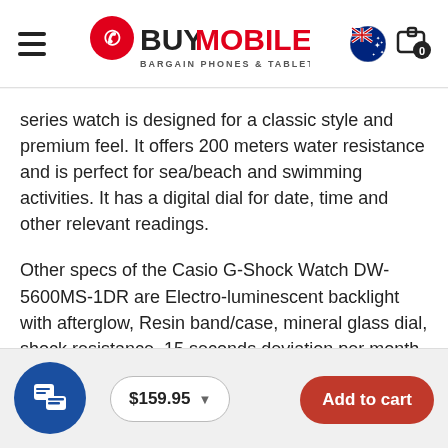BUY MOBILE — BARGAIN PHONES & TABLETS
series watch is designed for a classic style and premium feel. It offers 200 meters water resistance and is perfect for sea/beach and swimming activities. It has a digital dial for date, time and other relevant readings.
Other specs of the Casio G-Shock Watch DW-5600MS-1DR are Electro-luminescent backlight with afterglow, Resin band/case, mineral glass dial, shock resistance, 15 seconds deviation per month, 12/24h time format, full auto-calendar up to 2039, Multi-function alarms, stopwatch, 2 years battery and 60g weight.
$159.95  Add to cart